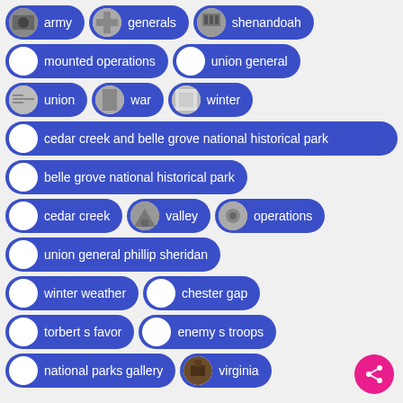army
generals
shenandoah
mounted operations
union general
union
war
winter
cedar creek and belle grove national historical park
belle grove national historical park
cedar creek
valley
operations
union general phillip sheridan
winter weather
chester gap
torbert s favor
enemy s troops
national parks gallery
virginia